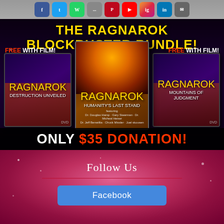[Figure (screenshot): Social media share buttons bar (Facebook, Twitter, WhatsApp, SMS, Pinterest, YouTube, Instagram, LinkedIn, Email)]
[Figure (infographic): The Ragnarok Blockbuster Bundle promotional banner showing three DVD box sets: Ragnarok Destruction Unveiled (free with film), Ragnarok Humanity's Last Stand (center), and Ragnarok Mountains of Judgment (free with film). Text reads ONLY $35 DONATION!]
Follow Us
[Figure (infographic): Facebook button (blue rounded rectangle)]